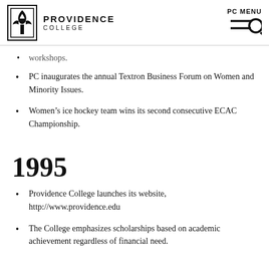Providence College | PC MENU
workshops.
PC inaugurates the annual Textron Business Forum on Women and Minority Issues.
Women's ice hockey team wins its second consecutive ECAC Championship.
1995
Providence College launches its website, http://www.providence.edu
The College emphasizes scholarships based on academic achievement regardless of financial need.
1996